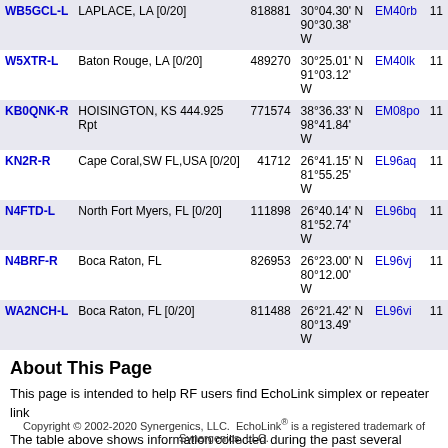| Callsign | Location | Node | Coordinates | Grid |  |
| --- | --- | --- | --- | --- | --- |
| WB5GCL-L | LAPLACE, LA [0/20] | 818881 | 30°04.30' N 90°30.38' W | EM40rb | 11 |
| W5XTR-L | Baton Rouge, LA [0/20] | 489270 | 30°25.01' N 91°03.12' W | EM40lk | 11 |
| KB0QNK-R | HOISINGTON, KS 444.925 Rpt | 771574 | 38°36.33' N 98°41.84' W | EM08po | 11 |
| KN2R-R | Cape Coral,SW FL,USA [0/20] | 41712 | 26°41.15' N 81°55.25' W | EL96aq | 11 |
| N4FTD-L | North Fort Myers, FL [0/20] | 111898 | 26°40.14' N 81°52.74' W | EL96bq | 11 |
| N4BRF-R | Boca Raton, FL | 826953 | 26°23.00' N 80°12.00' W | EL96vj | 11 |
| WA2NCH-L | Boca Raton, FL [0/20] | 811488 | 26°21.42' N 80°13.49' W | EL96vi | 11 |
About This Page
This page is intended to help RF users find EchoLink simplex or repeater link
The table above shows information collected during the past several minutes. only stations shown are those which have entered location information on the viewed here.
Simplex links (-L) show the location, frequency, and antenna information of the frequency, and antenna information of the repeater it serves. The values in th
Copyright © 2002-2020 Synergenics, LLC. EchoLink® is a registered trademark of Synergenics, LLC.